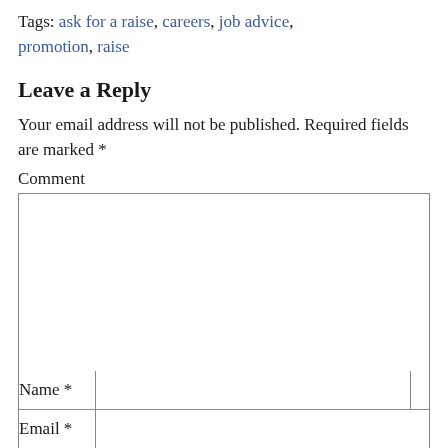Tags: ask for a raise, careers, job advice, promotion, raise
Leave a Reply
Your email address will not be published. Required fields are marked *
Comment
Name *
Email *